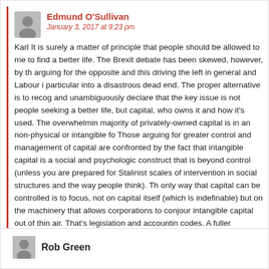Edmund O'Sullivan
January 3, 2017 at 9:23 pm
Karl It is surely a matter of principle that people should be allowed to move to find a better life. The Brexit debate has been skewed, however, by the arguing for the opposite and this driving the left in general and Labour in particular into a disastrous dead end. The proper alternative is to recognise and unambiguously declare that the key issue is not people seeking a better life, but capital, who owns it and how it's used. The overwhelming majority of privately-owned capital is in an non-physical or intangible form. Those arguing for greater control and management of capital are confronted by the fact that intangible capital is a social and psychological construct that is beyond control (unless you are prepared for Stalinist scales of intervention in social structures and the way people think). The only way that capital can be controlled is to focus, not on capital itself (which is indefinable) but on the machinery that allows corporations to conjour intangible capital out of thin air. That's legislation and accounting codes. A fuller explanation of capital as a concept and its deficiencies is here: http://edmundosullivan.com/economics2030/capital-is-a-social-construct-and-cant-be-controlled/
Rob Green